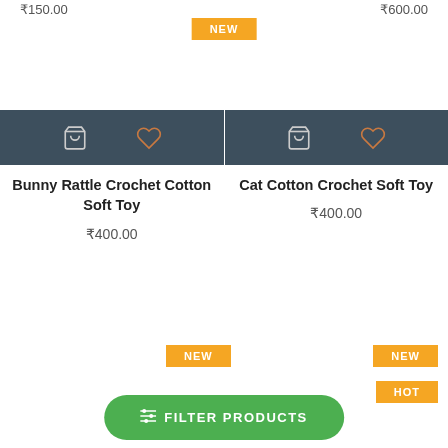₹150.00   ₹600.00
NEW
[Figure (screenshot): Dark action bar with shopping bag icon and heart icon for Bunny Rattle product]
Bunny Rattle Crochet Cotton Soft Toy
₹400.00
[Figure (screenshot): Dark action bar with shopping bag icon and heart icon for Cat Cotton product]
Cat Cotton Crochet Soft Toy
₹400.00
NEW
NEW
HOT
FILTER PRODUCTS